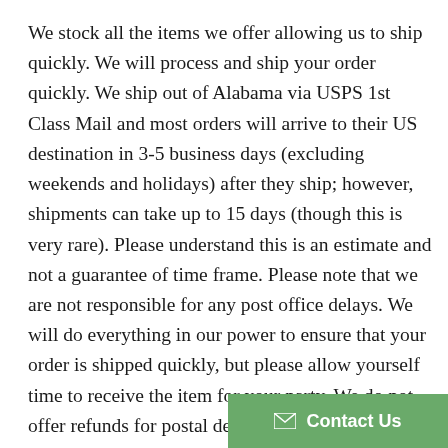We stock all the items we offer allowing us to ship quickly. We will process and ship your order quickly. We ship out of Alabama via USPS 1st Class Mail and most orders will arrive to their US destination in 3-5 business days (excluding weekends and holidays) after they ship; however, shipments can take up to 15 days (though this is very rare). Please understand this is an estimate and not a guarantee of time frame. Please note that we are not responsible for any post office delays. We will do everything in our power to ensure that your order is shipped quickly, but please allow yourself time to receive the item for your party. We do not offer refunds for postal delays.
While most orders do arrive in 3-5 business days, this time frame is not guaranteed. If your need by date falls within this range and is a must, we do offer shipping upgrades fo...